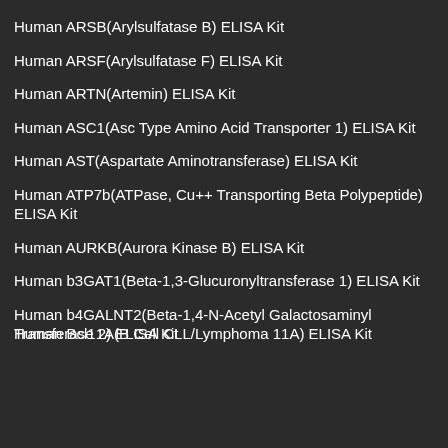Human ARSB(Arylsulfatase B) ELISA Kit
Human ARSF(Arylsulfatase F) ELISA Kit
Human ARTN(Artemin) ELISA Kit
Human ASC1(Asc Type Amino Acid Transporter 1) ELISA Kit
Human AST(Aspartate Aminotransferase) ELISA Kit
Human ATP7b(ATPase, Cu++ Transporting Beta Polypeptide) ELISA Kit
Human AURKB(Aurora Kinase B) ELISA Kit
Human b3GAT1(Beta-1,3-Glucuronyltransferase 1) ELISA Kit
Human b4GALNT2(Beta-1,4-N-Acetyl Galactosaminyl Transferase 2) ELISA Kit
Human Bcl11A(B Cell CLL/Lymphoma 11A) ELISA Kit